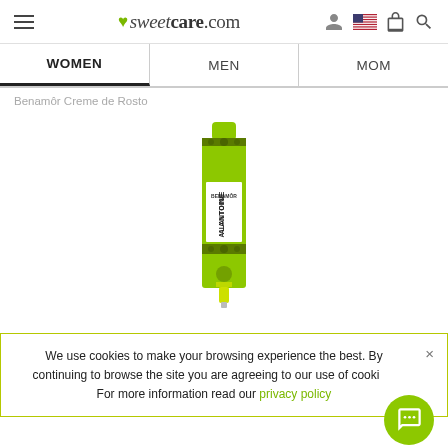sweetcare.com
WOMEN | MEN | MOM
Benamôr Creme de Rosto
[Figure (photo): A green tube of Benamôr Alantoine face cream product, standing upright with cap at bottom]
We use cookies to make your browsing experience the best. By continuing to browse the site you are agreeing to our use of cookies. For more information read our privacy policy